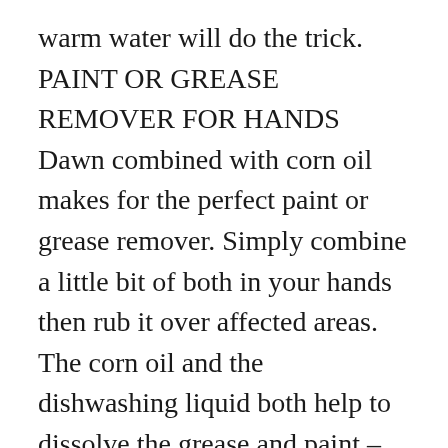warm water will do the trick. PAINT OR GREASE REMOVER FOR HANDS Dawn combined with corn oil makes for the perfect paint or grease remover. Simply combine a little bit of both in your hands then rub it over affected areas. The corn oil and the dishwashing liquid both help to dissolve the grease and paint – yet leave skin soft, unlike harsher paint removers. CLEANING THE KIDDIE POOL Plastic wading pools can get very gunky, very fast. Dump the water, then scrub the pool with Dawn and a sponge.